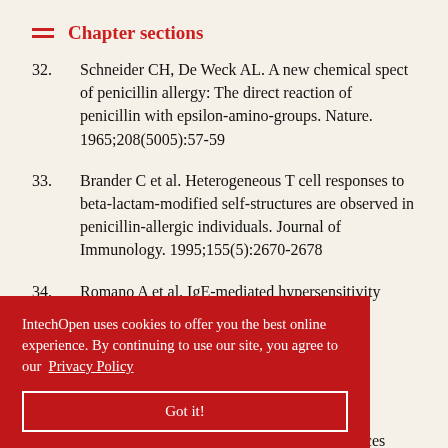Chapter sections
32. Schneider CH, De Weck AL. A new chemical spect of penicillin allergy: The direct reaction of penicillin with epsilon-amino-groups. Nature. 1965;208(5005):57-59
33. Brander C et al. Heterogeneous T cell responses to beta-lactam-modified self-structures are observed in penicillin-allergic individuals. Journal of Immunology. 1995;155(5):2670-2678
34. Romano A et al. IgE-mediated hypersensitivity ... and ... ctams, and ... gy and ... 994-999
...ens (HLA) associated drug hypersensitivity: Consequences
IntechOpen uses cookies to offer you the best online experience. By continuing to use our site, you agree to our Privacy Policy